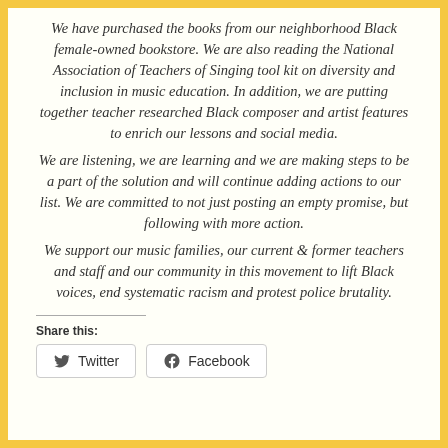We have purchased the books from our neighborhood Black female-owned bookstore. We are also reading the National Association of Teachers of Singing tool kit on diversity and inclusion in music education. In addition, we are putting together teacher researched Black composer and artist features to enrich our lessons and social media.
We are listening, we are learning and we are making steps to be a part of the solution and will continue adding actions to our list. We are committed to not just posting an empty promise, but following with more action.
We support our music families, our current & former teachers and staff and our community in this movement to lift Black voices, end systematic racism and protest police brutality.
Share this:
[Figure (other): Twitter and Facebook share buttons]